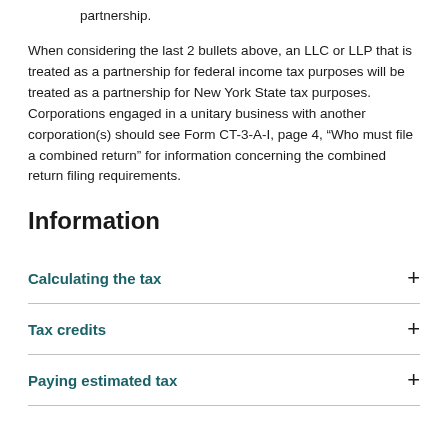partnership.
When considering the last 2 bullets above, an LLC or LLP that is treated as a partnership for federal income tax purposes will be treated as a partnership for New York State tax purposes. Corporations engaged in a unitary business with another corporation(s) should see Form CT-3-A-I, page 4, “Who must file a combined return” for information concerning the combined return filing requirements.
Information
Calculating the tax
Tax credits
Paying estimated tax